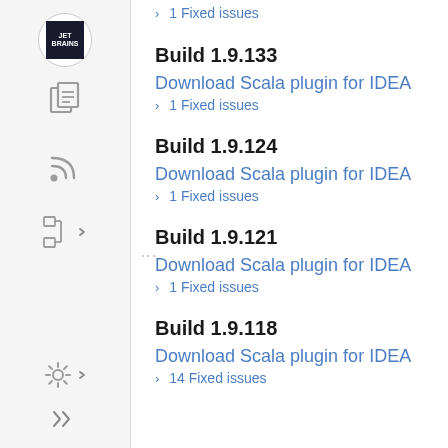› 3 Fixed issues
Build 1.9.133
Download Scala plugin for IDEA
› 1 Fixed issues
Build 1.9.124
Download Scala plugin for IDEA
› 1 Fixed issues
Build 1.9.121
Download Scala plugin for IDEA
› 1 Fixed issues
Build 1.9.118
Download Scala plugin for IDEA
› 14 Fixed issues